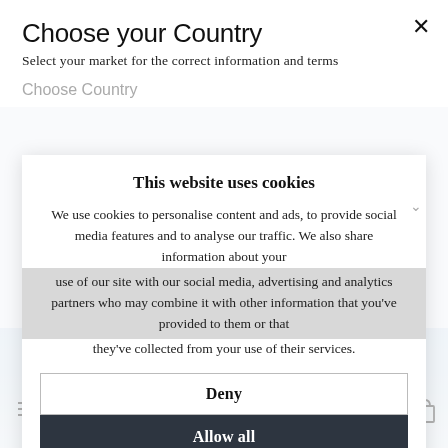Choose your Country
Select your market for the correct information and terms
Choose Country
This website uses cookies
We use cookies to personalise content and ads, to provide social media features and to analyse our traffic. We also share information about your use of our site with our social media, advertising and analytics partners who may combine it with other information that you've provided to them or that they've collected from your use of their services.
1-3 days delivery
Deny
Allow all
Show details
The history of